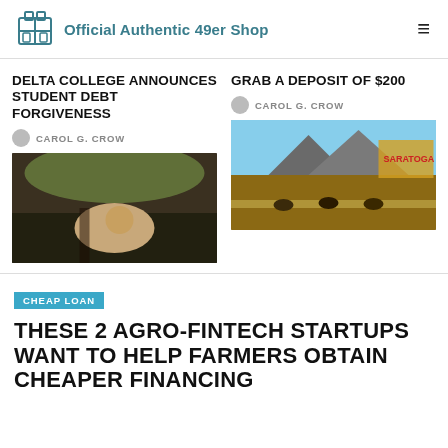Official Authentic 49er Shop
DELTA COLLEGE ANNOUNCES STUDENT DEBT FORGIVENESS
CAROL G. CROW
[Figure (photo): Student studying outdoors]
GRAB A DEPOSIT OF $200
CAROL G. CROW
[Figure (photo): Horse racing at Saratoga]
CHEAP LOAN
THESE 2 AGRO-FINTECH STARTUPS WANT TO HELP FARMERS OBTAIN CHEAPER FINANCING